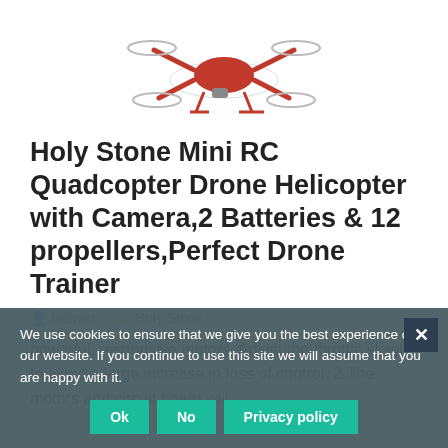[Figure (photo): Partial image of a red and white Holy Stone mini RC quadcopter drone helicopter, cropped at the top of the page]
Holy Stone Mini RC Quadcopter Drone Helicopter with Camera,2 Batteries & 12 propellers,Perfect Drone Trainer
Denver   Holy Stone
powerful, responsive motors. Adjust the throttle slowly to avoid a large increase in loss of control. 2.The motors and circuit board will
We use cookies to ensure that we give you the best experience on our website. If you continue to use this site we will assume that you are happy with it.